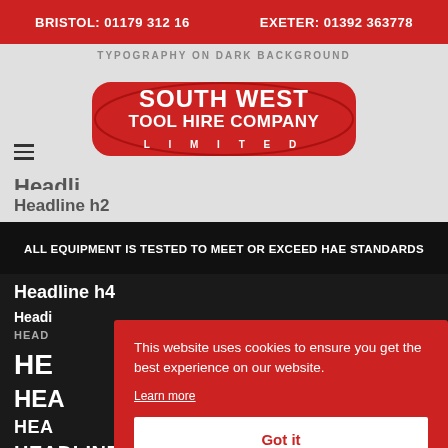BRISTOL: 01179531216  EXETER: 01392363778
TYPOGRAPHY ON DARK BACKGROUND
[Figure (logo): South West Tool Hire Company Limited logo in red with rounded rectangle border]
Headline h2
ALL EQUIPMENT IS TESTED TO MEET OR EXCEED HAE STANDARDS
Headline h4
Headline h5 (partial)
HEADLINE H6 (partial)
HEADLINE H2 (large, partial)
HEADLINE H2 (medium, partial)
HEADLINE H3 (partial)
HEADLINE H4 (bottom)
This website uses cookies to ensure you get the best experience on our website.
Learn more
Got it